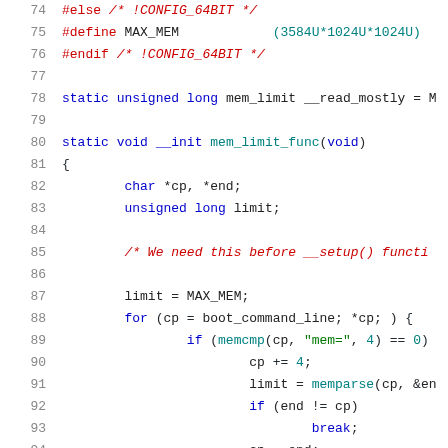[Figure (screenshot): Source code listing (C/Linux kernel), lines 74–95, showing preprocessor directives (#else, #define MAX_MEM, #endif), a static variable declaration, and a static void function mem_limit_func with local vars and a for loop parsing boot_command_line.]